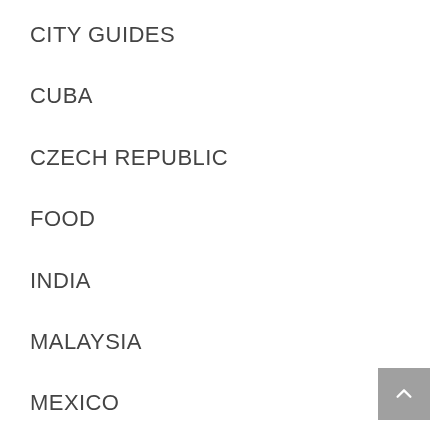CITY GUIDES
CUBA
CZECH REPUBLIC
FOOD
INDIA
MALAYSIA
MEXICO
MYANMAR
PHOTOGRAPHY
[Figure (other): Gray scroll-to-top button with upward chevron arrow in bottom-right corner]